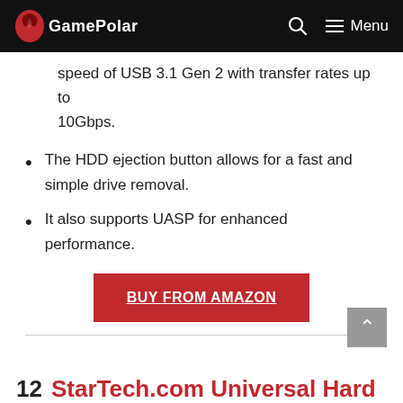GamePolar  Menu
speed of USB 3.1 Gen 2 with transfer rates up to 10Gbps.
The HDD ejection button allows for a fast and simple drive removal.
It also supports UASP for enhanced performance.
BUY FROM AMAZON
12  StarTech.com Universal Hard